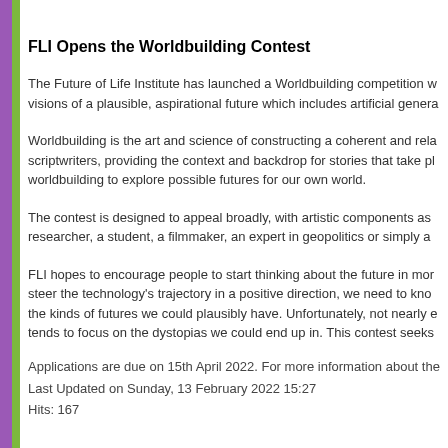FLI Opens the Worldbuilding Contest
The Future of Life Institute has launched a Worldbuilding competition w visions of a plausible, aspirational future which includes artificial genera
Worldbuilding is the art and science of constructing a coherent and rela scriptwriters, providing the context and backdrop for stories that take pl worldbuilding to explore possible futures for our own world.
The contest is designed to appeal broadly, with artistic components as researcher, a student, a filmmaker, an expert in geopolitics or simply a
FLI hopes to encourage people to start thinking about the future in mor steer the technology's trajectory in a positive direction, we need to kno the kinds of futures we could plausibly have. Unfortunately, not nearly e tends to focus on the dystopias we could end up in. This contest seeks
Applications are due on 15th April 2022. For more information about the
Last Updated on Sunday, 13 February 2022 15:27
Hits: 167